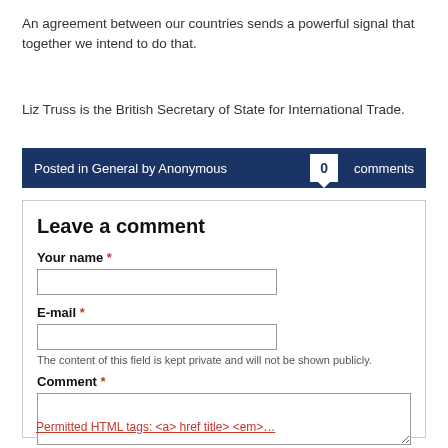An agreement between our countries sends a powerful signal that together we intend to do that.
Liz Truss is the British Secretary of State for International Trade.
Posted in General by Anonymous   0 comments
Leave a comment
Your name *
E-mail *
The content of this field is kept private and will not be shown publicly.
Comment *